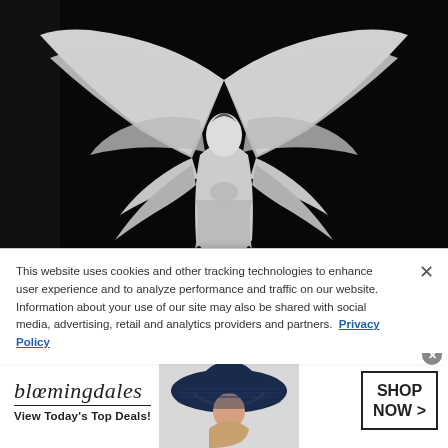[Figure (photo): Black and white photograph of an angel statue with large spread wings, photographed against a very dark background. The statue faces slightly upward, wings arching outward symmetrically.]
This website uses cookies and other tracking technologies to enhance user experience and to analyze performance and traffic on our website. Information about your use of our site may also be shared with social media, advertising, retail and analytics providers and partners. Privacy Policy
[Figure (screenshot): Bloomingdale's advertisement banner. Shows the Bloomingdale's logo in italic serif font with tagline 'View Today's Top Deals!', a photo of a woman wearing a large navy blue sun hat, and a 'SHOP NOW >' call-to-action button in a bordered box.]